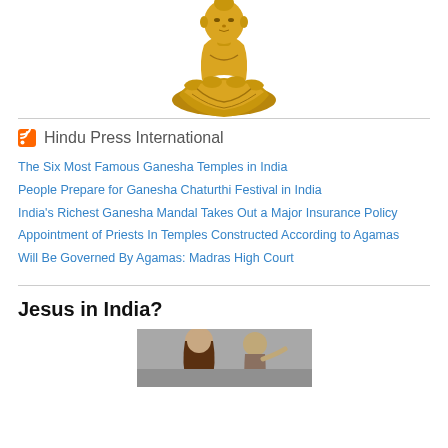[Figure (illustration): Golden Buddha statue in meditation pose, cross-legged, centered at top of page]
Hindu Press International
The Six Most Famous Ganesha Temples in India
People Prepare for Ganesha Chaturthi Festival in India
India’s Richest Ganesha Mandal Takes Out a Major Insurance Policy
Appointment of Priests In Temples Constructed According to Agamas
Will Be Governed By Agamas: Madras High Court
Jesus in India?
[Figure (photo): Photo of a person with long hair gesturing, partially visible at bottom of page]